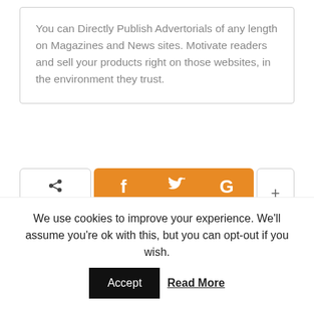You can Directly Publish Advertorials of any length on Magazines and News sites. Motivate readers and sell your products right on those websites, in the environment they trust.
[Figure (infographic): Share bar with Facebook, Twitter, Google+ social share buttons in orange and a plus button]
Vintage Lifestyle
We use cookies to improve your experience. We'll assume you're ok with this, but you can opt-out if you wish. Accept Read More